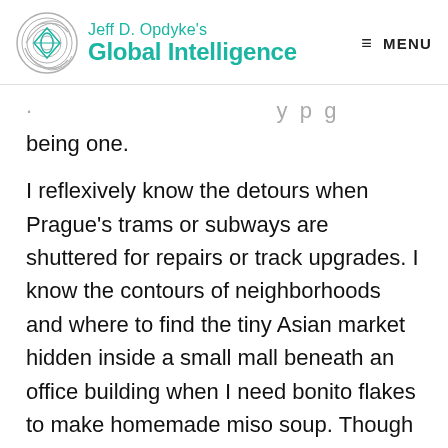Jeff D. Opdyke's Global Intelligence  ≡ MENU
…y p g being one.
I reflexively know the detours when Prague's trams or subways are shuttered for repairs or track upgrades. I know the contours of neighborhoods and where to find the tiny Asian market hidden inside a small mall beneath an office building when I need bonito flakes to make homemade miso soup. Though I don't speak the language, my brain seems to recognize